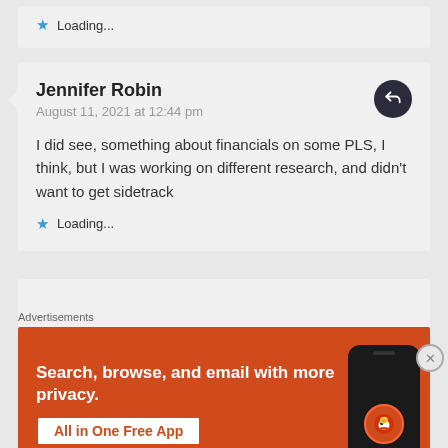⭐ Loading...
Jennifer Robin
August 11, 2021 at 12:44 pm
I did see, something about financials on some PLS, I think, but I was working on different research, and didn't want to get sidetrack
⭐ Loading...
Advertisements
[Figure (screenshot): DuckDuckGo advertisement banner: 'Search, browse, and email with more privacy. All in One Free App' on orange background with phone mockup showing DuckDuckGo logo]